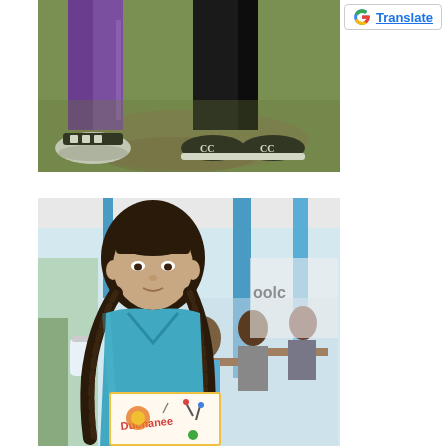[Figure (photo): Photo of two people standing on grass, showing only their lower bodies. One person wears purple pants with Adidas slides, the other wears black pants with black and white Chanel-style shoes.]
[Figure (logo): Google Translate button with Google G logo and the word Translate in blue underlined text, inside a bordered box.]
[Figure (photo): Photo of a young girl with braids, wearing a teal/blue v-neck shirt, holding a handmade colorful name card that reads 'Duchanee'. In the background there are other students seated at tables under a covered outdoor area with blue pillars.]